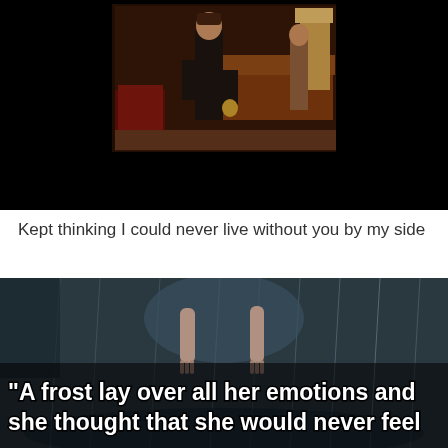[Figure (photo): TV show scene (Friends) with a man in black standing in a living room with colorful background, framed by black bars top and bottom]
Kept thinking I could never live without you by my side
[Figure (photo): Dark rainy scene with a person in the rain, overlaid with quote text: "A frost lay over all her emotions and she thought that she would never feel anything again."]